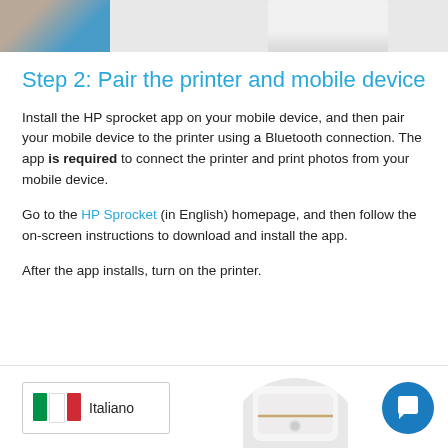[Figure (photo): Top partial image showing HP Sprocket printer and a photo on the left with blue gradient, and white device on the right]
Step 2: Pair the printer and mobile device
Install the HP sprocket app on your mobile device, and then pair your mobile device to the printer using a Bluetooth connection. The app is required to connect the printer and print photos from your mobile device.
Go to the HP Sprocket (in English) homepage, and then follow the on-screen instructions to download and install the app.
After the app installs, turn on the printer.
[Figure (photo): Bottom bar with Italian language flag selector box showing Italian flag and 'Italiano' text, a circular cropped image of the HP Sprocket printer showing power button, and a blue circular chat support button with speech bubble icon]